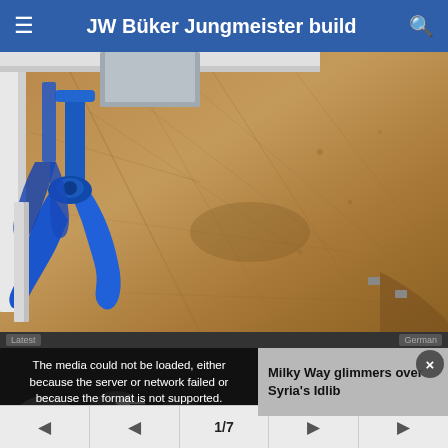JW Büker Jungmeister build
[Figure (photo): Photograph of a model aircraft frame being built on a wooden workbench. Blue plastic clamps hold white structural pieces. The wood surface is worn and marked with pencil lines.]
The media could not be loaded, either because the server or network failed or because the format is not supported.
Milky Way glimmers over Syria's Idlib
1/7